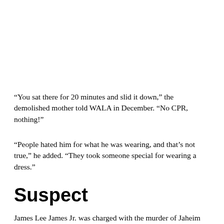“You sat there for 20 minutes and slid it down,” the demolished mother told WALA in December. “No CPR, nothing!”
“People hated him for what he was wearing, and that’s not true,” he added. “They took someone special for wearing a dress.”
Suspect
James Lee James Jr. was charged with the murder of Jaheim